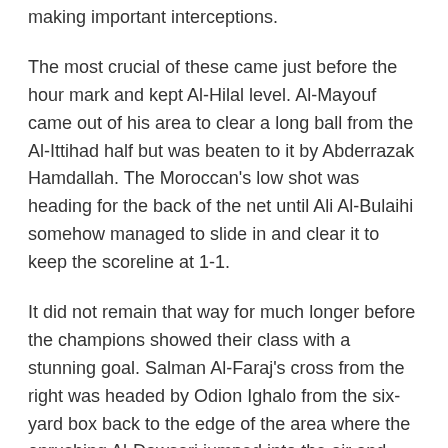making important interceptions.
The most crucial of these came just before the hour mark and kept Al-Hilal level. Al-Mayouf came out of his area to clear a long ball from the Al-Ittihad half but was beaten to it by Abderrazak Hamdallah. The Moroccan's low shot was heading for the back of the net until Ali Al-Bulaihi somehow managed to slide in and clear it to keep the scoreline at 1-1.
It did not remain that way for much longer before the champions showed their class with a stunning goal. Salman Al-Faraj's cross from the right was headed by Odion Ighalo from the six-yard box back to the edge of the area where the onrushing Al-Dawsari jumped into the air and directed the bouncing ball into the top corner. It was a world-class finish. There were a couple of minutes of uncertainty while the VAR checked to make sure that Ighalo had been onside. It turned out he was, just